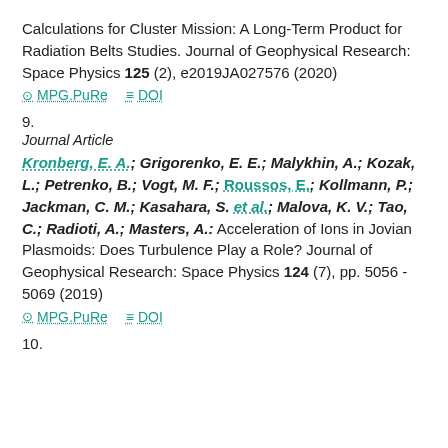Calculations for Cluster Mission: A Long-Term Product for Radiation Belts Studies. Journal of Geophysical Research: Space Physics 125 (2), e2019JA027576 (2020)
⊙ MPG.PuRe   ≡ DOI
9.
Journal Article
Kronberg, E. A.; Grigorenko, E. E.; Malykhin, A.; Kozak, L.; Petrenko, B.; Vogt, M. F.; Roussos, E.; Kollmann, P.; Jackman, C. M.; Kasahara, S. et al.; Malova, K. V.; Tao, C.; Radioti, A.; Masters, A.: Acceleration of Ions in Jovian Plasmoids: Does Turbulence Play a Role? Journal of Geophysical Research: Space Physics 124 (7), pp. 5056 - 5069 (2019)
⊙ MPG.PuRe   ≡ DOI
10.